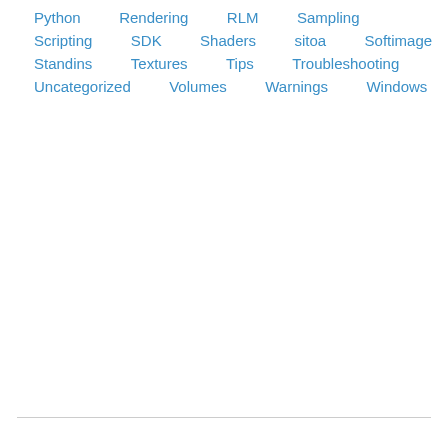Python
Rendering
RLM
Sampling
Scripting
SDK
Shaders
sitoa
Softimage
Standins
Textures
Tips
Troubleshooting
Uncategorized
Volumes
Warnings
Windows